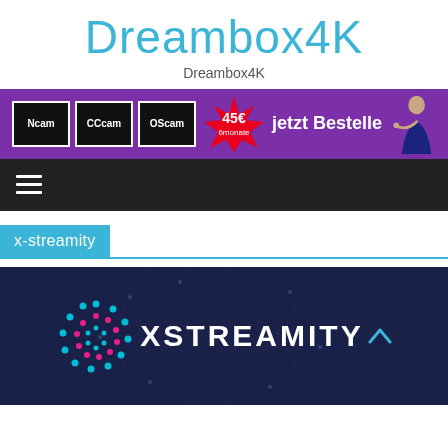Dreambox4K
Dreambox4K
[Figure (infographic): Purple banner advertisement showing Ncam, CCcam, OSCam logos, a red starburst badge with '45€ 6monate', text 'jetzt Bestelle', and a woman pointing]
[Figure (infographic): Dark navigation bar with hamburger menu icon (three horizontal lines)]
x-streamity
[Figure (logo): X-Streamity logo on dark blue background with network globe graphic and the text XSTREAMITY with a circular dot pattern icon]